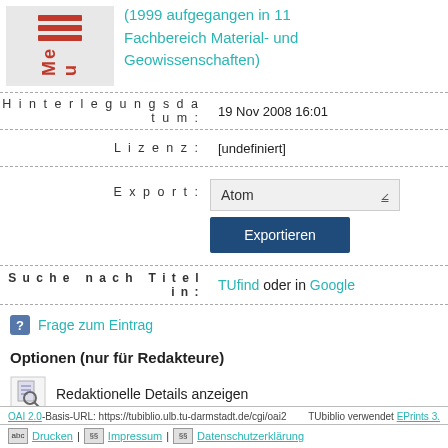(1999 aufgegangen in 11 Fachbereich Material- und Geowissenschaften)
| Field | Value |
| --- | --- |
| Hinterlegungsdatum: | 19 Nov 2008 16:01 |
| Lizenz: | [undefiniert] |
| Export: | Atom / Exportieren |
| Suche nach Titel in: | TUfind oder in Google |
Frage zum Eintrag
Optionen (nur für Redakteure)
Redaktionelle Details anzeigen
OAI 2.0-Basis-URL: https://tubiblio.ulb.tu-darmstadt.de/cgi/oai2  TUbiblio verwendet EPrints 3.
Drucken | Impressum | Datenschutzerklärung